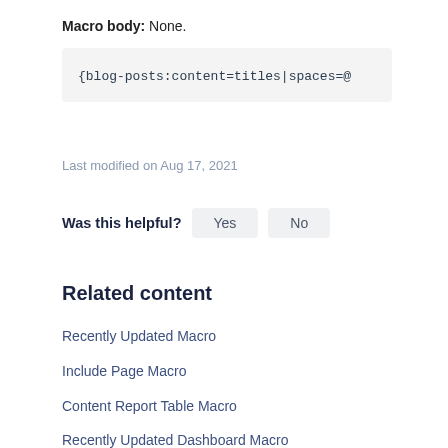Macro body: None.
{blog-posts:content=titles|spaces=@
Last modified on Aug 17, 2021
Was this helpful?  Yes  No
Related content
Recently Updated Macro
Include Page Macro
Content Report Table Macro
Recently Updated Dashboard Macro